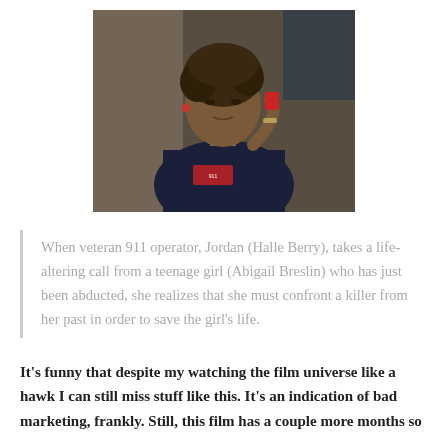[Figure (photo): A woman with short curly hair wearing a dark navy uniform with a 911 patch, sitting at a workstation, holding a red object. Office/dispatch center background.]
When veteran 911 operator, Jordan (Halle Berry), takes a life-altering call from a teenage girl (Abigail Breslin) who has just been abducted, she realizes that she must confront a killer from her past in order to save the girl's life.
It's funny that despite my watching the film universe like a hawk I can still miss stuff like this. It's an indication of bad marketing, frankly. Still, this film has a couple more months so